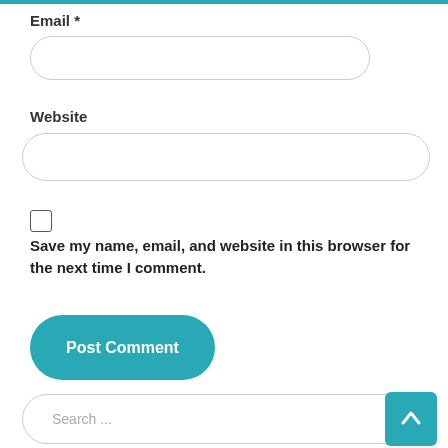Email *
[Figure (other): Email input text field with rounded border]
Website
[Figure (other): Website input text field with rounded border]
[Figure (other): Unchecked checkbox]
Save my name, email, and website in this browser for the next time I comment.
[Figure (other): Post Comment button in teal/cyan color with rounded corners]
[Figure (other): Search input field with placeholder text 'Search ...' and back-to-top teal button on the right]